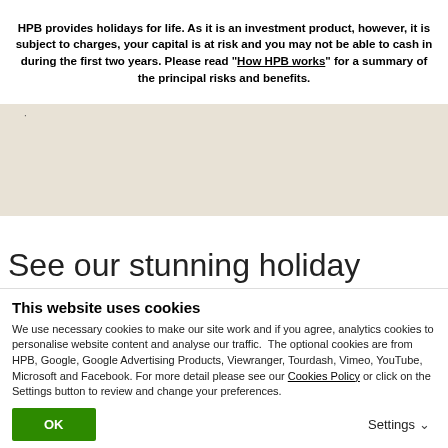HPB provides holidays for life. As it is an investment product, however, it is subject to charges, your capital is at risk and you may not be able to cash in during the first two years. Please read "How HPB works" for a summary of the principal risks and benefits.
[Figure (photo): Beige/tan background area representing a partially loaded or placeholder image section with a small dot marker]
See our stunning holiday
This website uses cookies
We use necessary cookies to make our site work and if you agree, analytics cookies to personalise website content and analyse our traffic.  The optional cookies are from HPB, Google, Google Advertising Products, Viewranger, Tourdash, Vimeo, YouTube, Microsoft and Facebook. For more detail please see our Cookies Policy or click on the Settings button to review and change your preferences.